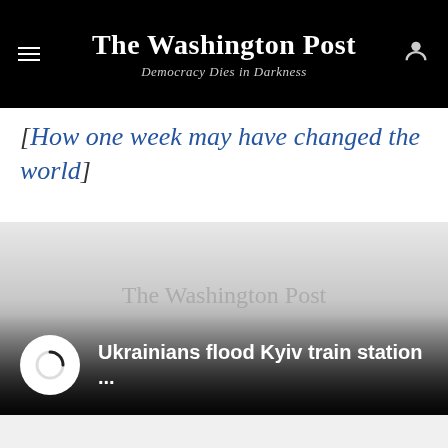The Washington Post — Democracy Dies in Darkness
[How one week may have changed the world]
[Figure (screenshot): Washington Post video player with loading spinner and caption 'Ukrainians flood Kyiv train station ...' on a gradient dark background with The Washington Post watermark]